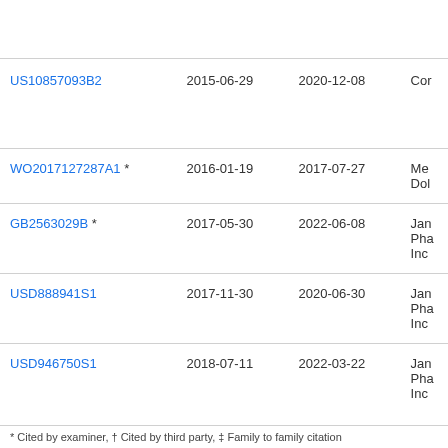| Patent Number | Filed | Published/Granted | Assignee |
| --- | --- | --- | --- |
| US10857093B2 | 2015-06-29 | 2020-12-08 | Cor… |
| WO2017127287A1 * | 2016-01-19 | 2017-07-27 | Me… Dol… |
| GB2563029B * | 2017-05-30 | 2022-06-08 | Jan… Pha… Inc… |
| USD888941S1 | 2017-11-30 | 2020-06-30 | Jan… Pha… Inc… |
| USD946750S1 | 2018-07-11 | 2022-03-22 | Jan… Pha… Inc… |
* Cited by examiner, † Cited by third party, ‡ Family to family citation